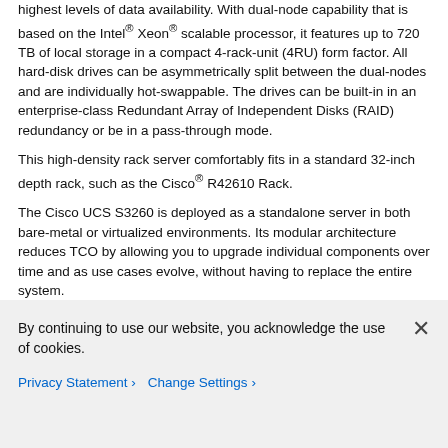highest levels of data availability. With dual-node capability that is based on the Intel® Xeon® scalable processor, it features up to 720 TB of local storage in a compact 4-rack-unit (4RU) form factor. All hard-disk drives can be asymmetrically split between the dual-nodes and are individually hot-swappable. The drives can be built-in in an enterprise-class Redundant Array of Independent Disks (RAID) redundancy or be in a pass-through mode.
This high-density rack server comfortably fits in a standard 32-inch depth rack, such as the Cisco® R42610 Rack.
The Cisco UCS S3260 is deployed as a standalone server in both bare-metal or virtualized environments. Its modular architecture reduces TCO by allowing you to upgrade individual components over time and as use cases evolve, without having to replace the entire system.
The Cisco UCS S3260 uses a modular server architecture that, using Cisco's blade technology expertise, allows you to upgrade the computing or network nodes in the system without the need to migrate data migration from one system to another. It
By continuing to use our website, you acknowledge the use of cookies.
Privacy Statement › Change Settings ›